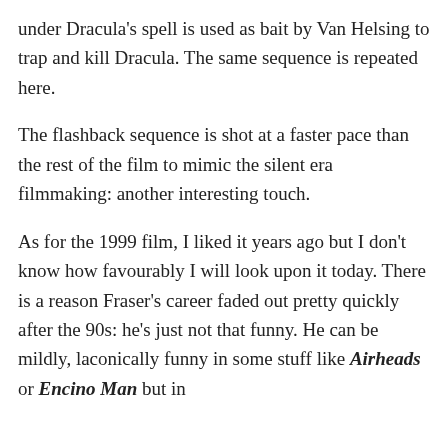under Dracula's spell is used as bait by Van Helsing to trap and kill Dracula. The same sequence is repeated here.
The flashback sequence is shot at a faster pace than the rest of the film to mimic the silent era filmmaking: another interesting touch.
As for the 1999 film, I liked it years ago but I don't know how favourably I will look upon it today. There is a reason Fraser's career faded out pretty quickly after the 90s: he's just not that funny. He can be mildly, laconically funny in some stuff like Airheads or Encino Man but in
Advertisements
AUTOMATTIC
Build a better web and a better world.